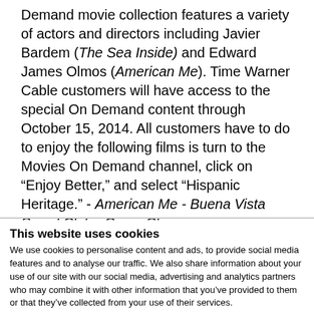Demand movie collection features a variety of actors and directors including Javier Bardem (The Sea Inside) and Edward James Olmos (American Me). Time Warner Cable customers will have access to the special On Demand content through October 15, 2014. All customers have to do to enjoy the following films is turn to the Movies On Demand channel, click on “Enjoy Better,” and select “Hispanic Heritage.” - American Me - Buena Vista Social Club - Cesar Chavez - Crazy/Beautiful - El Cantante - Frida - Frontera - Illegal Tender - Like
This website uses cookies
We use cookies to personalise content and ads, to provide social media features and to analyse our traffic. We also share information about your use of our site with our social media, advertising and analytics partners who may combine it with other information that you’ve provided to them or that they’ve collected from your use of their services.